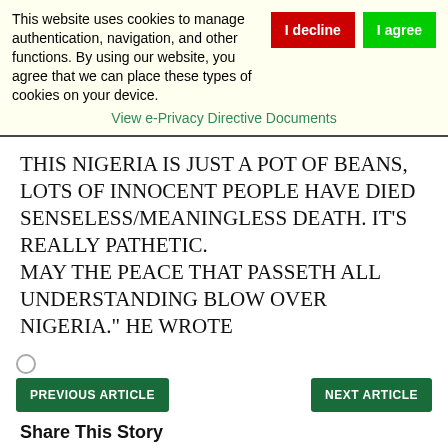This website uses cookies to manage authentication, navigation, and other functions. By using our website, you agree that we can place these types of cookies on your device.
View e-Privacy Directive Documents
THIS NIGERIA IS JUST A POT OF BEANS, LOTS OF INNOCENT PEOPLE HAVE DIED SENSELESS/MEANINGLESS DEATH. IT'S REALLY PATHETIC. MAY THE PEACE THAT PASSETH ALL UNDERSTANDING BLOW OVER NIGERIA." HE WROTE
PREVIOUS ARTICLE
NEXT ARTICLE
Share This Story